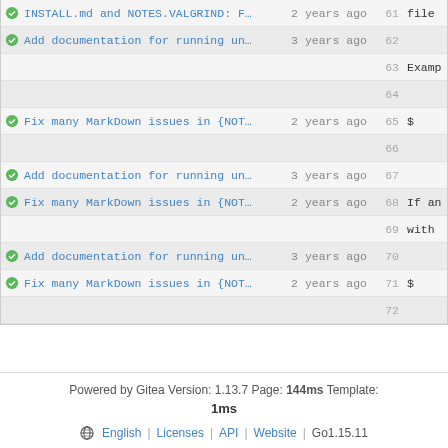| commit | message | time | line | content |
| --- | --- | --- | --- | --- |
| icon | INSTALL.md and NOTES.VALGRIND: F… | 2 years ago | 61 | file |
| icon | Add documentation for running un… | 3 years ago | 62 |  |
|  |  |  | 63 | Examp |
|  |  |  | 64 |  |
| icon | Fix many MarkDown issues in {NOT… | 2 years ago | 65 | $ |
|  |  |  | 66 |  |
| icon | Add documentation for running un… | 3 years ago | 67 |  |
| icon | Fix many MarkDown issues in {NOT… | 2 years ago | 68 | If an |
|  |  |  | 69 | with |
| icon | Add documentation for running un… | 3 years ago | 70 |  |
| icon | Fix many MarkDown issues in {NOT… | 2 years ago | 71 | $ |
|  |  |  | 72 |  |
Powered by Gitea Version: 1.13.7 Page: 144ms Template: 1ms | English | Licenses | API | Website | Go1.15.11